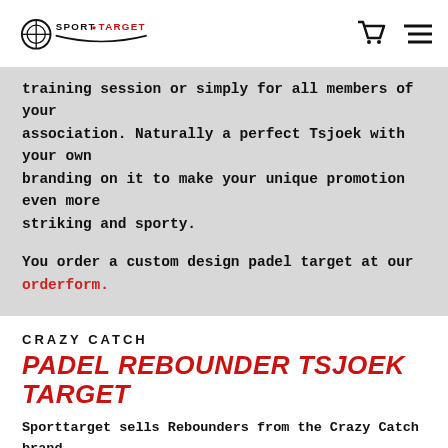SPORT TARGET
training session or simply for all members of your association. Naturally a perfect Tsjoek with your own branding on it to make your unique promotion even more striking and sporty.
You order a custom design padel target at our orderform.
CRAZY CATCH
PADEL REBOUNDER TSJOEK TARGET
Sporttarget sells Rebounders from the Crazy Catch brand, these rebounders can improve your Padel skills and make exercises more attractive.
Buy the Crazy Catch Tjsoek rebounder now at our shop